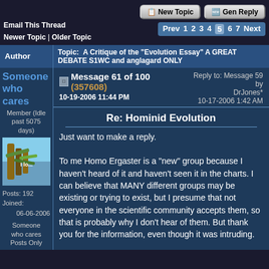Email This Thread
Newer Topic | Older Topic
New Topic  Gen Reply
Prev 1 2 3 4 5 6 7 Next
| Author | Topic: A Critique of the "Evolution Essay" A GREAT DEBATE S1WC and anglagard ONLY |
| --- | --- |
| Someone who cares
Member (Idle past 5075 days)
Posts: 192
Joined: 06-06-2006
Someone who cares Posts Only | Message 61 of 100 (357608)
10-19-2006 11:44 PM
Reply to: Message 59 by DrJones*
10-17-2006 1:42 AM
Re: Hominid Evolution
Just want to make a reply.
To me Homo Ergaster is a "new" group because I haven't heard of it and haven't seen it in the charts. I can believe that MANY different groups may be existing or trying to exist, but I presume that not everyone in the scientific community accepts them, so that is probably why I don't hear of them. But thank you for the information, even though it was intruding. |